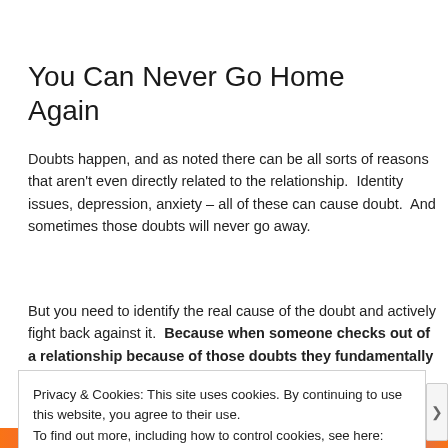You Can Never Go Home Again
Doubts happen, and as noted there can be all sorts of reasons that aren't even directly related to the relationship.  Identity issues, depression, anxiety – all of these can cause doubt.  And sometimes those doubts will never go away.
But you need to identify the real cause of the doubt and actively fight back against it.  Because when someone checks out of a relationship because of those doubts they fundamentally alter the relationship
Privacy & Cookies: This site uses cookies. By continuing to use this website, you agree to their use.
To find out more, including how to control cookies, see here: Cookie Policy
Close and accept